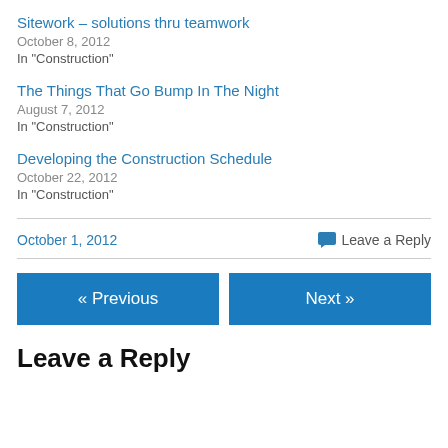Sitework – solutions thru teamwork
October 8, 2012
In "Construction"
The Things That Go Bump In The Night
August 7, 2012
In "Construction"
Developing the Construction Schedule
October 22, 2012
In "Construction"
October 1, 2012
Leave a Reply
« Previous
Next »
Leave a Reply